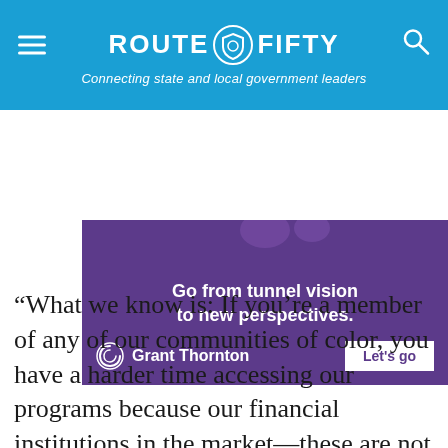ROUTE FIFTY — Connecting state and local government leaders
[Figure (illustration): Grant Thornton advertisement on purple background: 'Go from tunnel vision to new perspectives.' with Grant Thornton logo and 'Let's go' button]
“What we know is: If you’re a member of any of our communities of color, you have a harder time accessing our programs because our financial institutions in the market—these are not city-owned financial institutions, right—don’t lend as frequently to communities of color outside of home ownership,” said Shauen Pearce, the city’s